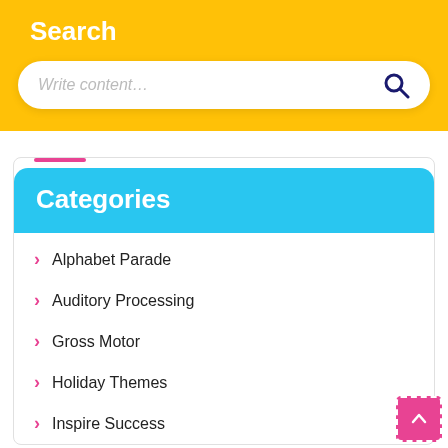Search
Write content...
Categories
Alphabet Parade
Auditory Processing
Gross Motor
Holiday Themes
Inspire Success